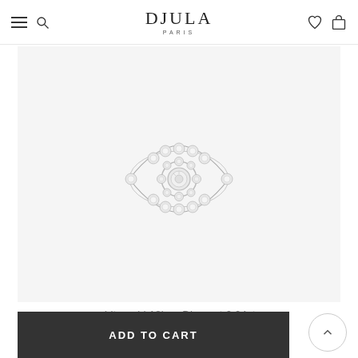DJULA PARIS
[Figure (photo): Diamond evil eye earring stud in white gold on light gray background. The jewelry piece is a small eye-shaped design encrusted with diamonds.]
white gold 18k    Diamant 0.04cts
ADD TO CART